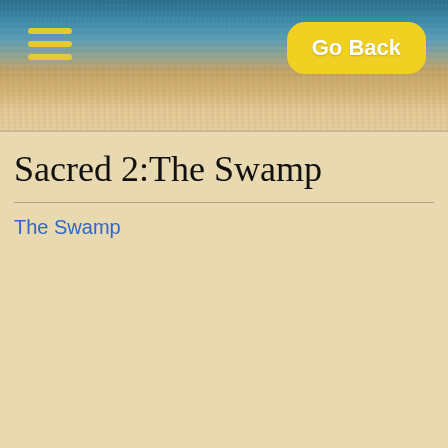[Figure (illustration): Website header banner with a textured ocean/beach background gradient, showing blue water at top transitioning to sandy beige tones. Contains a yellow hamburger menu icon on the left and a yellow rounded 'Go Back' button on the right.]
Sacred 2:The Swamp
The Swamp